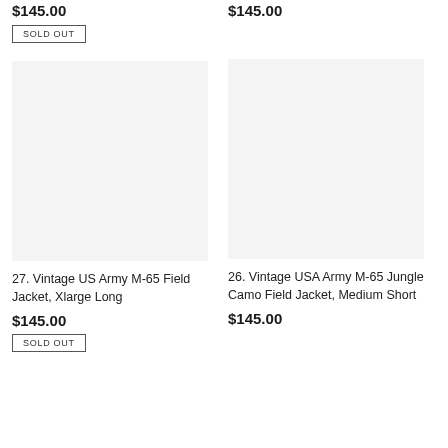$145.00
SOLD OUT
[Figure (photo): Product image placeholder – empty light grey box for item 27]
27. Vintage US Army M-65 Field Jacket, Xlarge Long
$145.00
SOLD OUT
$145.00
[Figure (photo): Product image placeholder – empty light grey box for item 26]
26. Vintage USA Army M-65 Jungle Camo Field Jacket, Medium Short
$145.00